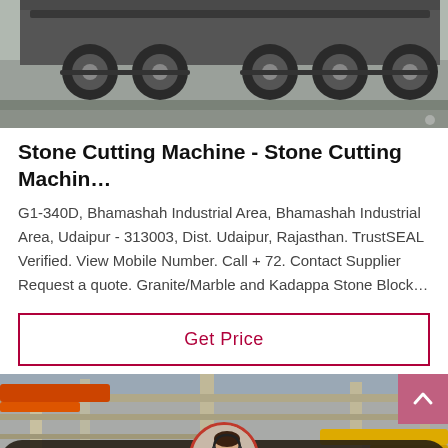[Figure (photo): Photo of the underside/wheels of a large truck or semi-trailer on pavement]
Stone Cutting Machine - Stone Cutting Machin…
G1-340D, Bhamashah Industrial Area, Bhamashah Industrial Area, Udaipur - 313003, Dist. Udaipur, Rajasthan. TrustSEAL Verified. View Mobile Number. Call + 72. Contact Supplier Request a quote. Granite/Marble and Kadappa Stone Block…
Get Price
[Figure (photo): Photo of an industrial facility interior with yellow cranes and steel structures, with a customer service representative chat widget at the bottom showing Leave Message and Chat Online buttons]